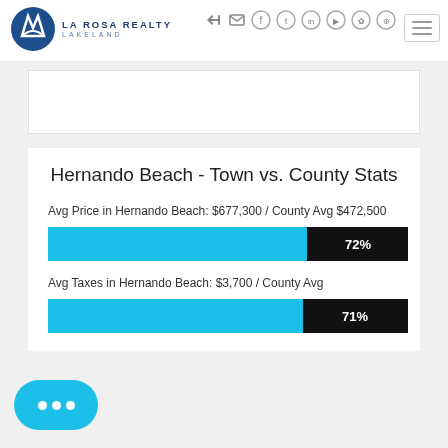[Figure (logo): La Rosa Realty Lakeland logo with circular blue emblem and text]
Hernando Beach - Town vs. County Stats
Avg Price in Hernando Beach: $677,300 / County Avg $472,500
[Figure (bar-chart): Avg Price]
Avg Taxes in Hernando Beach: $3,700 / County Avg
[Figure (bar-chart): Avg Taxes]